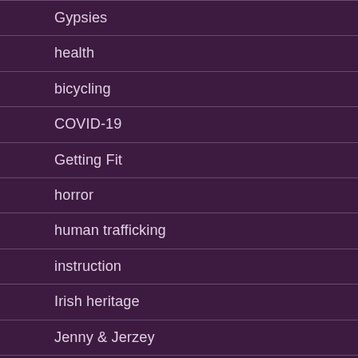Gypsies
health
bicycling
COVID-19
Getting Fit
horror
human trafficking
instruction
Irish heritage
Jenny & Jerzey
Jones